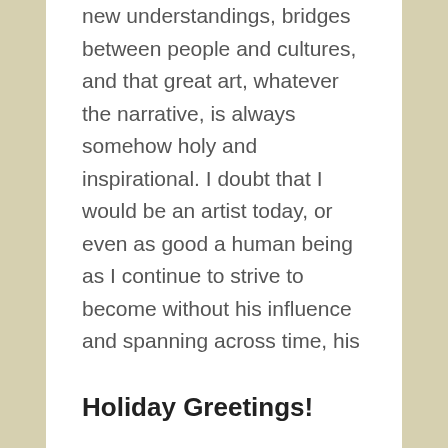new understandings, bridges between people and cultures, and that great art, whatever the narrative, is always somehow holy and inspirational. I doubt that I would be an artist today, or even as good a human being as I continue to strive to become without his influence and spanning across time, his visual friendship, for which I aptly thank God, as van Gogh would have wished. Read More
Comment
Holiday Greetings!